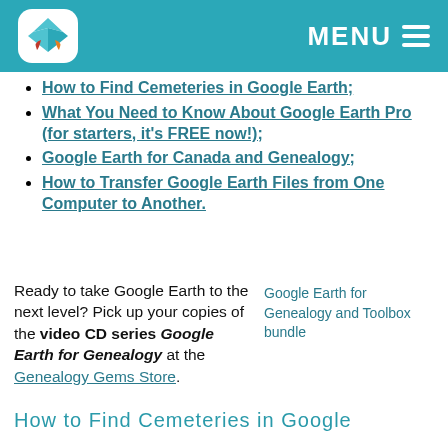MENU
How to Find Cemeteries in Google Earth;
What You Need to Know About Google Earth Pro (for starters, it's FREE now!);
Google Earth for Canada and Genealogy;
How to Transfer Google Earth Files from One Computer to Another.
Ready to take Google Earth to the next level? Pick up your copies of the video CD series Google Earth for Genealogy at the Genealogy Gems Store.
[Figure (illustration): Google Earth for Genealogy and Toolbox bundle product image placeholder]
How to Find Cemeteries in Google Earth